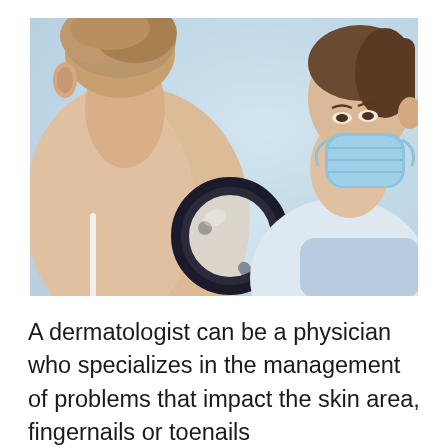[Figure (photo): A masked female dermatologist wearing gloves holds a magnifying glass close to a mole on a patient's shoulder/back, examining the skin. The doctor is wearing a blue surgical mask and white gloves. The patient has short blonde/grey hair and a white bra strap visible.]
A dermatologist can be a physician who specializes in the management of problems that impact the skin area, fingernails or toenails